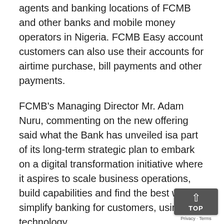agents and banking locations of FCMB and other banks and mobile money operators in Nigeria. FCMB Easy account customers can also use their accounts for airtime purchase, bill payments and other payments.
FCMB's Managing Director Mr. Adam Nuru, commenting on the new offering said what the Bank has unveiled isa part of its long-term strategic plan to embark on a digital transformation initiative where it aspires to scale business operations, build capabilities and find the best way to simplify banking for customers, using technology.
The CEO, who was represented by the Bank's Executive Director, Finance, Mrs. Yemisi Edun, said